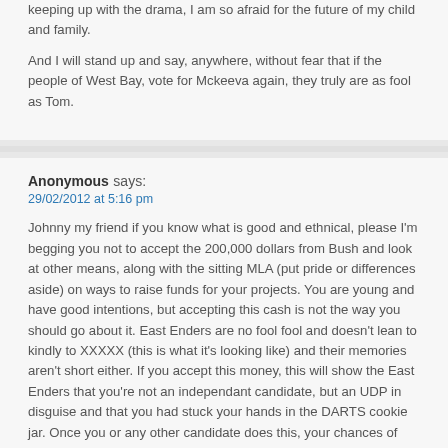keeping up with the drama, I am so afraid for the future of my child and family.
And I will stand up and say, anywhere, without fear that if the people of West Bay, vote for Mckeeva again, they truly are as fool as Tom.
Anonymous says:
29/02/2012 at 5:16 pm
Johnny my friend if you know what is good and ethnical, please I'm begging you not to accept the 200,000 dollars from Bush and look at other means, along with the sitting MLA (put pride or differences aside) on ways to raise funds for your projects. You are young and have good intentions, but accepting this cash is not the way you should go about it. East Enders are no fool fool and doesn't lean to kindly to XXXXX (this is what it's looking like) and their memories aren't short either. If you accept this money, this will show the East Enders that you're not an independant candidate, but an UDP in disguise and that you had stuck your hands in the DARTS cookie jar. Once you or any other candidate does this, your chances of winning an election in that or any other district is small. You have started off on a wrong foot my friend and I'm seriously hoping you will re-consider your position for the sake of ever becoming an succesful candidate in any elections.